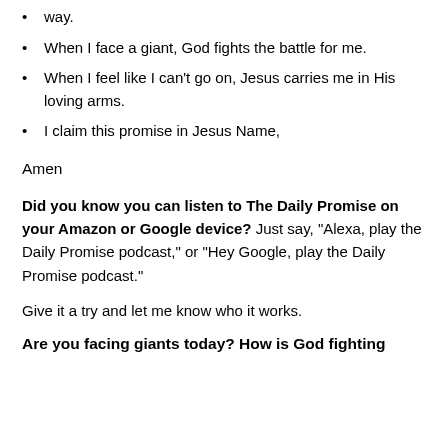way.
When I face a giant, God fights the battle for me.
When I feel like I can't go on, Jesus carries me in His loving arms.
I claim this promise in Jesus Name,
Amen
Did you know you can listen to The Daily Promise on your Amazon or Google device? Just say, "Alexa, play the Daily Promise podcast," or "Hey Google, play the Daily Promise podcast."
Give it a try and let me know who it works.
Are you facing giants today? How is God fighting